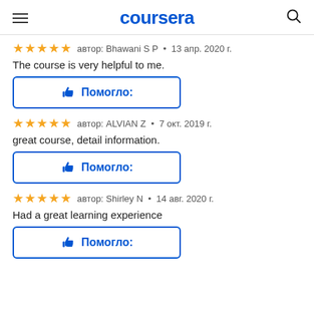coursera
автор: Bhawani S P · 13 апр. 2020 г.
The course is very helpful to me.
Помогло:
автор: ALVIAN Z · 7 окт. 2019 г.
great course, detail information.
Помогло:
автор: Shirley N · 14 авг. 2020 г.
Had a great learning experience
Помогло: